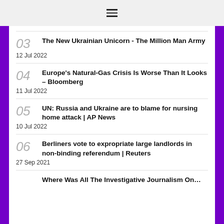≡
03 The New Ukrainian Unicorn - The Million Man Army
12 Jul 2022
04 Europe's Natural-Gas Crisis Is Worse Than It Looks – Bloomberg
11 Jul 2022
05 UN: Russia and Ukraine are to blame for nursing home attack | AP News
10 Jul 2022
06 Berliners vote to expropriate large landlords in non-binding referendum | Reuters
27 Sep 2021
Where Was All The Investigative Journalism On…